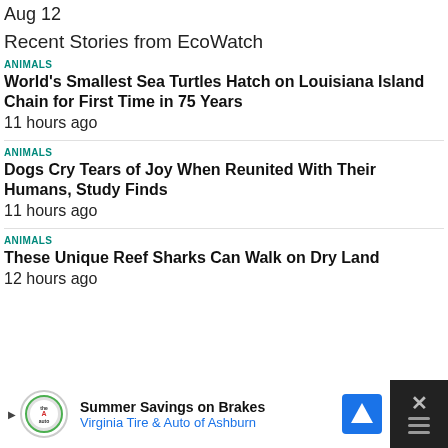Aug 12
Recent Stories from EcoWatch
ANIMALS
World's Smallest Sea Turtles Hatch on Louisiana Island Chain for First Time in 75 Years
11 hours ago
ANIMALS
Dogs Cry Tears of Joy When Reunited With Their Humans, Study Finds
11 hours ago
ANIMALS
These Unique Reef Sharks Can Walk on Dry Land
12 hours ago
[Figure (screenshot): Advertisement banner for Summer Savings on Brakes at Virginia Tire & Auto of Ashburn, with logo, navigation icon, and close button]